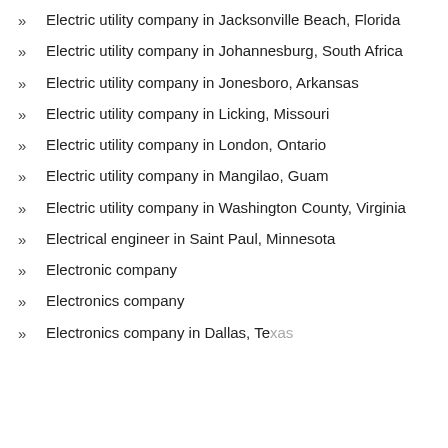Electric utility company in Jacksonville Beach, Florida
Electric utility company in Johannesburg, South Africa
Electric utility company in Jonesboro, Arkansas
Electric utility company in Licking, Missouri
Electric utility company in London, Ontario
Electric utility company in Mangilao, Guam
Electric utility company in Washington County, Virginia
Electrical engineer in Saint Paul, Minnesota
Electronic company
Electronics company
Electronics company in Dallas, Texas